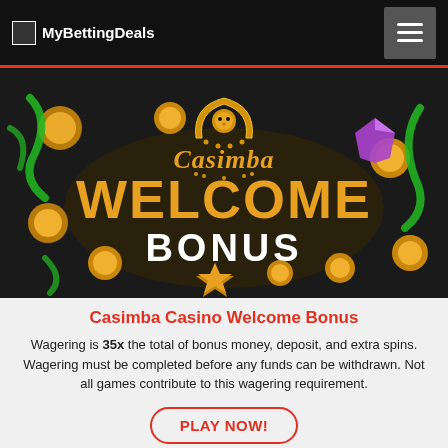MyBettingDeals
[Figure (illustration): Casimba Casino Welcome Bonus promotional banner with gold coins, green ribbons, purple gems, and the Casimba logo with a lion. Large text reads WELCOME BONUS in gold and white on a dark background.]
Casimba Casino Welcome Bonus
Wagering is 35x the total of bonus money, deposit, and extra spins. Wagering must be completed before any funds can be withdrawn. Not all games contribute to this wagering requirement.
PLAY NOW!